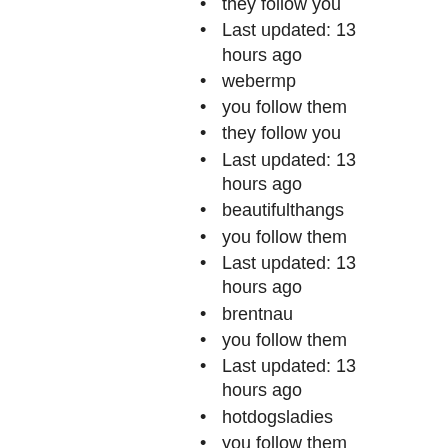they follow you
Last updated: 13 hours ago
webermp
you follow them
they follow you
Last updated: 13 hours ago
beautifulthangs
you follow them
Last updated: 13 hours ago
brentnau
you follow them
Last updated: 13 hours ago
hotdogsladies
you follow them
Last updated: 13 hours ago
incrediblehelp
you follow them
they follow you
Last updated: 13 hours ago
MikeMoran
you follow them
Last updated: 13 hours ago
samharrelson
you follow them